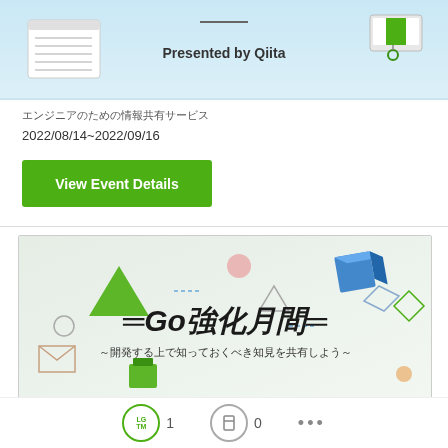[Figure (illustration): Top banner with light blue background, notebook and device icons, text 'Presented by Qiita']
エンジニアのための情報共有サービス
2022/08/14~2022/09/16
View Event Details
[Figure (illustration): Banner image with geometric shapes (green triangle, blue cube, pink circle, etc.) and Japanese text '=Go強化月間=' and subtitle '～開発する上で知っておくべき知見を共有しよう～']
LGTM 1  0  ...